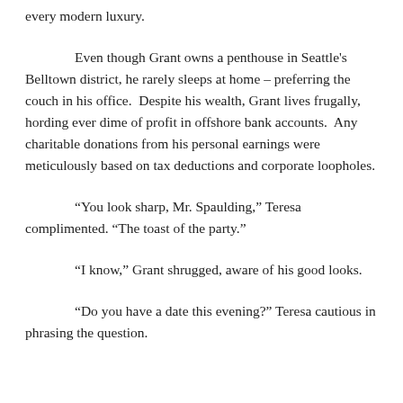every modern luxury.
Even though Grant owns a penthouse in Seattle's Belltown district, he rarely sleeps at home – preferring the couch in his office.  Despite his wealth, Grant lives frugally, hording ever dime of profit in offshore bank accounts.  Any charitable donations from his personal earnings were meticulously based on tax deductions and corporate loopholes.
“You look sharp, Mr. Spaulding,” Teresa complimented. “The toast of the party.”
“I know,” Grant shrugged, aware of his good looks.
“Do you have a date this evening?” Teresa cautious in phrasing the question.